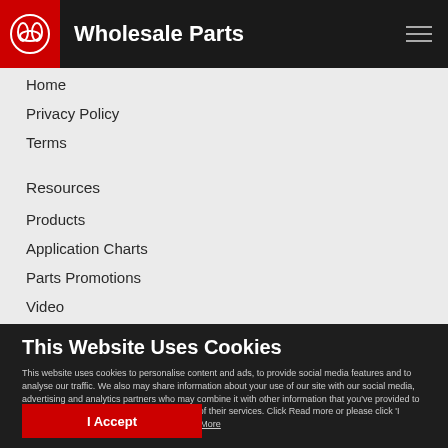Wholesale Parts
Home
Privacy Policy
Terms
Resources
Products
Application Charts
Parts Promotions
Video
This Website Uses Cookies
This website uses cookies to personalise content and ads, to provide social media features and to analyse our traffic. We also may share information about your use of our site with our social media, advertising and analytics partners who may combine it with other information that you've provided to them or that they've collected from your use of their services. Click Read more or please click 'I Accept' to continue using this website. Read More
I Accept